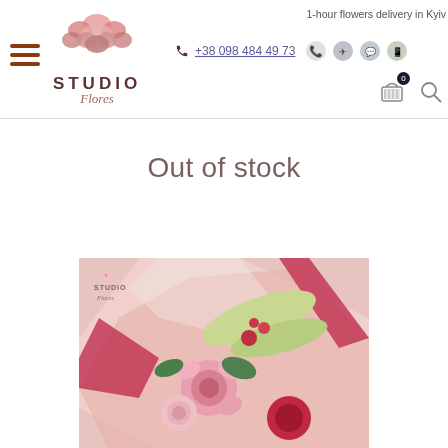Studio Flores — 1-hour flowers delivery in Kyiv — +38 098 484 49 73
Out of stock
[Figure (photo): A colorful flower bouquet with pink roses, red flowers, green stems, wrapped in pink and red paper with a Studio Flores watermark]